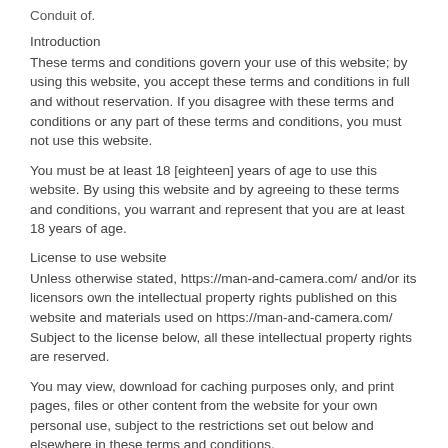Conduit of.
Introduction
These terms and conditions govern your use of this website; by using this website, you accept these terms and conditions in full and without reservation. If you disagree with these terms and conditions or any part of these terms and conditions, you must not use this website.
You must be at least 18 [eighteen] years of age to use this website. By using this website and by agreeing to these terms and conditions, you warrant and represent that you are at least 18 years of age.
License to use website
Unless otherwise stated, https://man-and-camera.com/ and/or its licensors own the intellectual property rights published on this website and materials used on https://man-and-camera.com/ Subject to the license below, all these intellectual property rights are reserved.
You may view, download for caching purposes only, and print pages, files or other content from the website for your own personal use, subject to the restrictions set out below and elsewhere in these terms and conditions.
You must not: